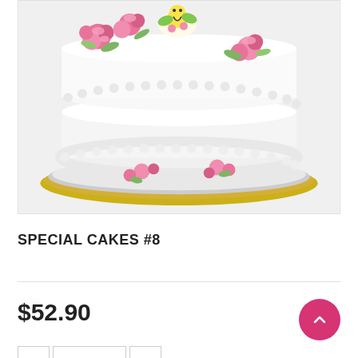[Figure (photo): A decorated white round cake with pink and colorful fondant flowers and figures on top, sitting on a silver and gold cake board. The cake has white ruffled piped borders around the edges.]
SPECIAL CAKES #8
$52.90